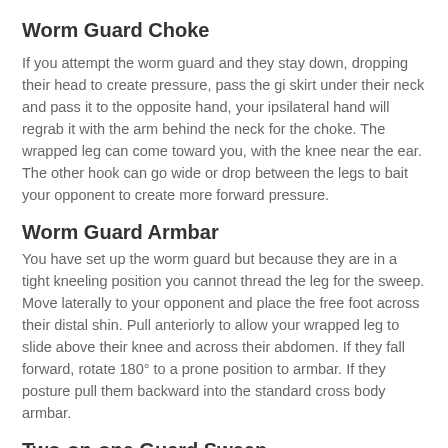Worm Guard Choke
If you attempt the worm guard and they stay down, dropping their head to create pressure, pass the gi skirt under their neck and pass it to the opposite hand, your ipsilateral hand will regrab it with the arm behind the neck for the choke. The wrapped leg can come toward you, with the knee near the ear. The other hook can go wide or drop between the legs to bait your opponent to create more forward pressure.
Worm Guard Armbar
You have set up the worm guard but because they are in a tight kneeling position you cannot thread the leg for the sweep. Move laterally to your opponent and place the free foot across their distal shin. Pull anteriorly to allow your wrapped leg to slide above their knee and across their abdomen. If they fall forward, rotate 180° to a prone position to armbar. If they posture pull them backward into the standard cross body armbar.
Two-on-one Guard Sweep